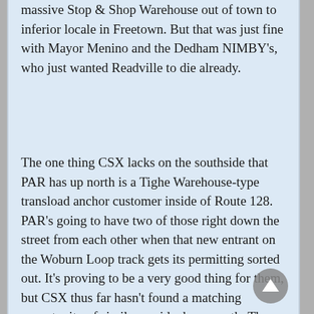massive Stop & Shop Warehouse out of town to inferior locale in Freetown. But that was just fine with Mayor Menino and the Dedham NIMBY's, who just wanted Readville to die already.
The one thing CSX lacks on the southside that PAR has up north is a Tighe Warehouse-type transload anchor customer inside of Route 128. PAR's going to have two of those right down the street from each other when that new entrant on the Woburn Loop track gets its permitting sorted out. It's proving to be a very good thing for them, but CSX thus far hasn't found a matching opportunity of similar upside down south. The S&S property is absolutely golden for that kind of activity. The absolute max neighborhood mitigation that would be required is erecting a sound wall around the existing tree buffer on Meadow Rd. so Wolcott Sq. residents hear nothing, then installing a traffic light and truck-geometry turn lane at the parkway